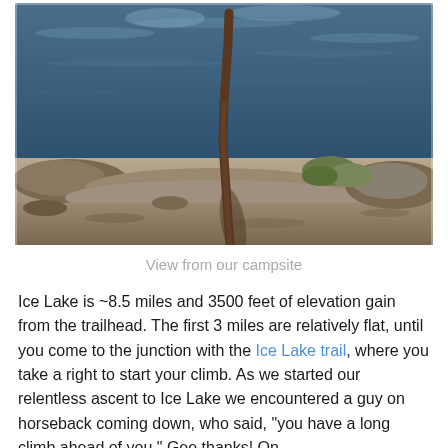[Figure (photo): Outdoor photo showing a mountain lake with calm blue water reflecting the sky. In the foreground are rocky terrain and sandy ground, with a single thin bare tree trunk leaning slightly. Some shrubs are visible near the rocks at the water's edge.]
View from our campsite
Ice Lake is ~8.5 miles and 3500 feet of elevation gain from the trailhead. The first 3 miles are relatively flat, until you come to the junction with the Ice Lake trail, where you take a right to start your climb. As we started our relentless ascent to Ice Lake we encountered a guy on horseback coming down, who said, "you have a long climb ahead of you." Gee thanks! On